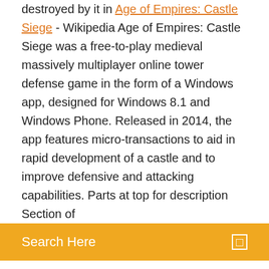destroyed by it in Age of Empires: Castle Siege - Wikipedia Age of Empires: Castle Siege was a free-to-play medieval massively multiplayer online tower defense game in the form of a Windows app, designed for Windows 8.1 and Windows Phone. Released in 2014, the app features micro-transactions to aid in rapid development of a castle and to improve defensive and attacking capabilities. Parts at top for description Section of
Search Here
Brothers in arms 3 sons of war apk télécharger
Pokemon soul silver rom gratuit télécharger
Pdf to text android code
Jeu de foot en ligne coupe du monde 2019
Sims 4 gratuit play android
Microsoft word gratuit télécharger crack
Gestion de stock web open source
Tracer un itinéraire sur une carte gratuit
Microsoft office 2007 professional plus sp3 iso español serial oro